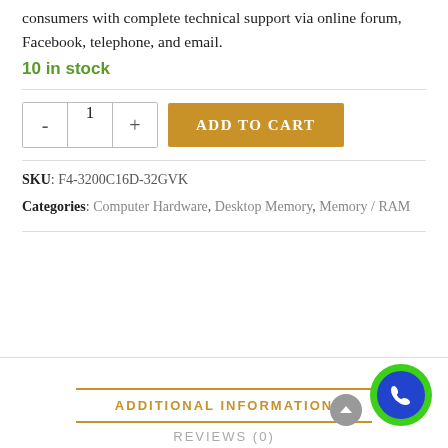consumers with complete technical support via online forum, Facebook, telephone, and email.
10 in stock
SKU: F4-3200C16D-32GVK
Categories: Computer Hardware, Desktop Memory, Memory / RAM
ADDITIONAL INFORMATION
REVIEWS (0)